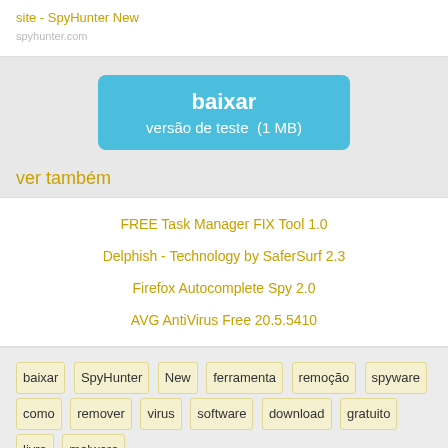site - SpyHunter New
[Figure (other): Blue download button with text 'baixar' and 'versão de teste  (1 MB)']
ver também
FREE Task Manager FIX Tool 1.0
Delphish - Technology by SaferSurf 2.3
Firefox Autocomplete Spy 2.0
AVG AntiVirus Free 20.5.5410
baixar SpyHunter New ferramenta remoção spyware como remover virus software download gratuito livre malware
Notice